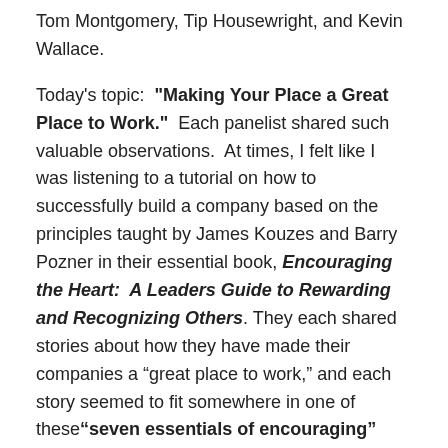Tom Montgomery, Tip Housewright, and Kevin Wallace.
Today's topic: "Making Your Place a Great Place to Work." Each panelist shared such valuable observations. At times, I felt like I was listening to a tutorial on how to successfully build a company based on the principles taught by James Kouzes and Barry Pozner in their essential book, Encouraging the Heart: A Leaders Guide to Rewarding and Recognizing Others. They each shared stories about how they have made their companies a “great place to work,” and each story seemed to fit somewhere in one of these “seven essentials of encouraging” (from the Kouzes and Posner book):
The Seven Essentials of Encouraging